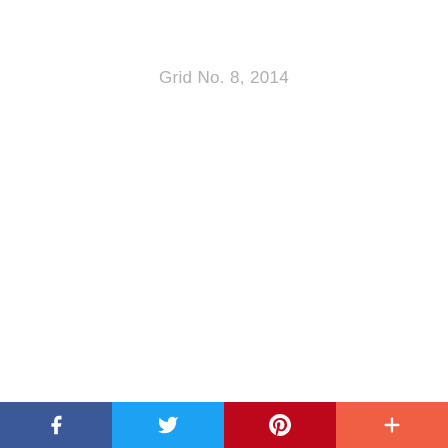Grid No. 8, 2014
Grid No. 9, 2014
[Figure (infographic): Social sharing bar with four buttons: Facebook (dark blue), Twitter (light blue), Pinterest (red), and a plus/more button (coral/orange-red)]